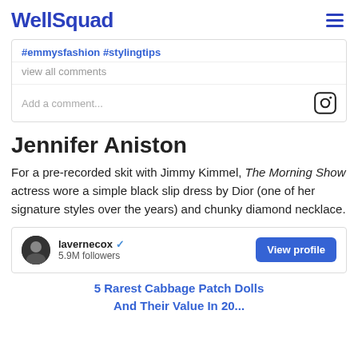WellSquad
#emmysfashion #stylingtips
view all comments
Add a comment...
Jennifer Aniston
For a pre-recorded skit with Jimmy Kimmel, The Morning Show actress wore a simple black slip dress by Dior (one of her signature styles over the years) and chunky diamond necklace.
lavernecox ✓
5.9M followers
View profile
5 Rarest Cabbage Patch Dolls And Their Value In 20...